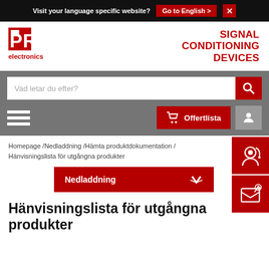Visit your language specific website? Go to English > ×
[Figure (logo): PR electronics logo in red with 'electronics' below in red]
SIGNAL CONDITIONING DEVICES
Vad letar du efter?
Offertlista
Homepage /Nedladdning /Hämta produktdokumentation / Hänvisningslista för utgångna produkter
Nedladdning
Hänvisningslista för utgångna produkter